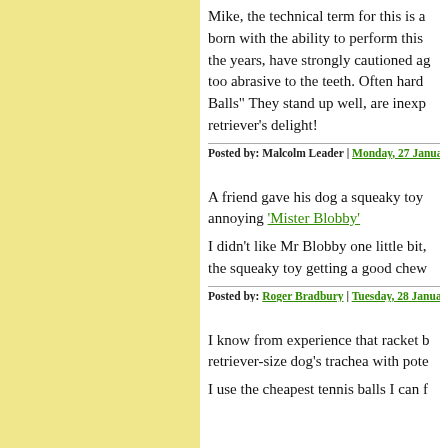Mike, the technical term for this is a born with the ability to perform this the years, have strongly cautioned ag too abrasive to the teeth. Often hard Balls" They stand up well, are inexp retriever's delight!
Posted by: Malcolm Leader | Monday, 27 January 201
A friend gave his dog a squeaky toy annoying 'Mister Blobby'
I didn't like Mr Blobby one little bit, the squeaky toy getting a good chew
Posted by: Roger Bradbury | Tuesday, 28 January 201
I know from experience that racket b retriever-size dog's trachea with pote
I use the cheapest tennis balls I can f